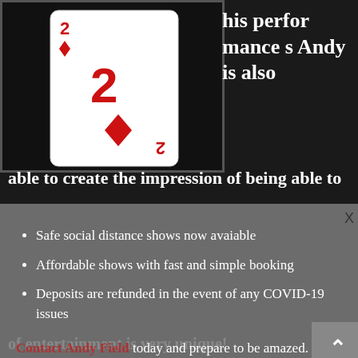[Figure (photo): A playing card (2 of diamonds) on a black background]
his performances Andy is also
able to create the impression of being able to
Safe social distance shows now avaiable
Affordable shows with fast and simple booking
Deposits are refunded in the event of any COVID-19 issues
Contact Andy Field today and prepare to be amazed.
of entertainment is very unique!